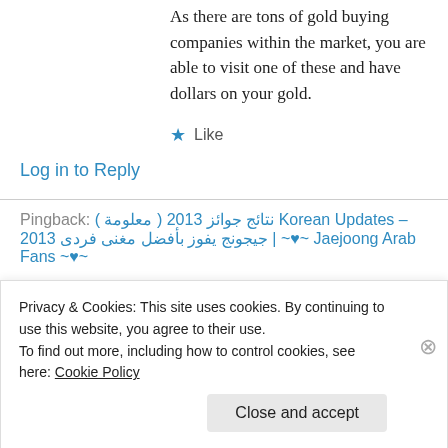As there are tons of gold buying companies within the market, you are able to visit one of these and have dollars on your gold.
★ Like
Log in to Reply
Pingback: نتائج جوائز 2013 ( معلومة ) Korean Updates – جيجونج يفوز بأفضل مغنى فردى 2013 | ~♥~ Jaejoong Arab Fans ~♥~
Privacy & Cookies: This site uses cookies. By continuing to use this website, you agree to their use.
To find out more, including how to control cookies, see here: Cookie Policy